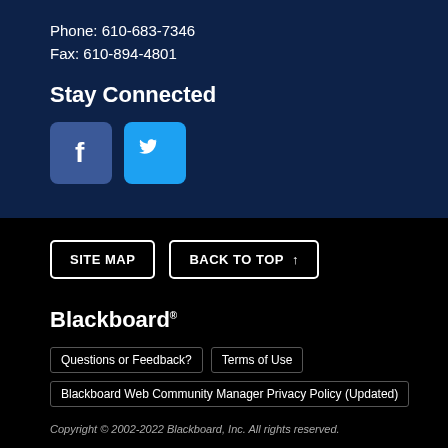Phone: 610-683-7346
Fax: 610-894-4801
Stay Connected
[Figure (illustration): Facebook and Twitter social media icon buttons]
SITE MAP
BACK TO TOP ↑
Blackboard®
Questions or Feedback?
Terms of Use
Blackboard Web Community Manager Privacy Policy (Updated)
Copyright © 2002-2022 Blackboard, Inc. All rights reserved.